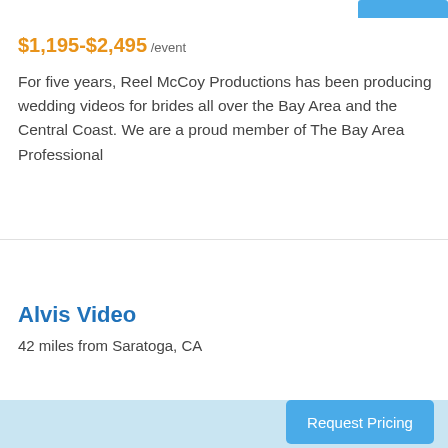$1,195-$2,495 /event
For five years, Reel McCoy Productions has been producing wedding videos for brides all over the Bay Area and the Central Coast. We are a proud member of The Bay Area Professional
[Figure (other): Light blue placeholder image area]
Alvis Video
42 miles from Saratoga, CA
Request Pricing